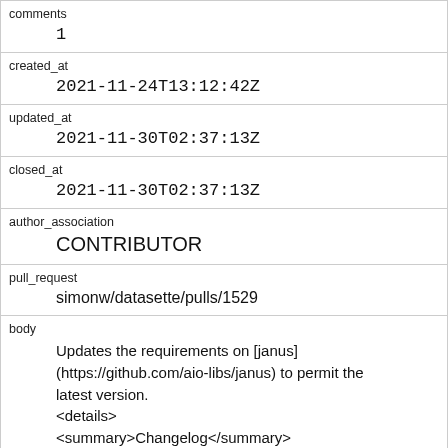| comments | 1 |
| created_at | 2021-11-24T13:12:42Z |
| updated_at | 2021-11-30T02:37:13Z |
| closed_at | 2021-11-30T02:37:13Z |
| author_association | CONTRIBUTOR |
| pull_request | simonw/datasette/pulls/1529 |
| body | Updates the requirements on [janus](https://github.com/aio-libs/janus) to permit the latest version.
<details>
<summary>Changelog</summary>
<p><em>Sourced from <a href="https://github.com/aio-libs/janus/blob/master/CHANGES.rst">janus's... |